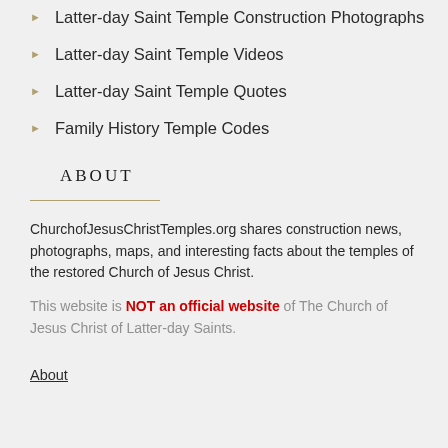Latter-day Saint Temple Construction Photographs
Latter-day Saint Temple Videos
Latter-day Saint Temple Quotes
Family History Temple Codes
ABOUT
ChurchofJesusChristTemples.org shares construction news, photographs, maps, and interesting facts about the temples of the restored Church of Jesus Christ.
This website is NOT an official website of The Church of Jesus Christ of Latter-day Saints.
About